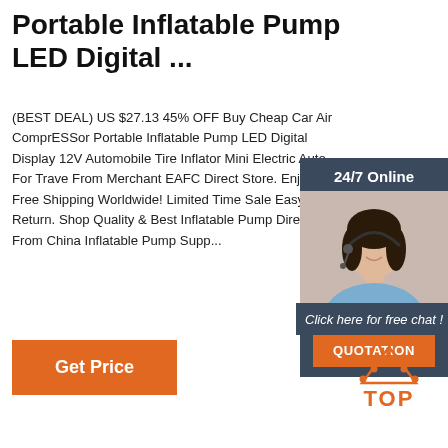Portable Inflatable Pump LED Digital ...
(BEST DEAL) US $27.13 45% OFF Buy Cheap Car Air ComprESSor Portable Inflatable Pump LED Digital Display 12V Automobile Tire Inflator Mini Electric Auto For Trave From Merchant EAFC Direct Store. Enjoy Free Shipping Worldwide! Limited Time Sale Easy Return. Shop Quality & Best Inflatable Pump Directly From China Inflatable Pump Suppliers.
[Figure (photo): Customer service representative woman with headset, 24/7 Online chat widget with orange QUOTATION button]
Get Price
[Figure (logo): Orange TOP logo with dotted arc above]